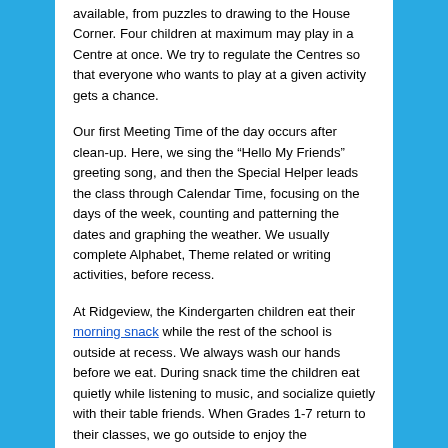available, from puzzles to drawing to the House Corner. Four children at maximum may play in a Centre at once. We try to regulate the Centres so that everyone who wants to play at a given activity gets a chance.
Our first Meeting Time of the day occurs after clean-up. Here, we sing the “Hello My Friends” greeting song, and then the Special Helper leads the class through Calendar Time, focusing on the days of the week, counting and patterning the dates and graphing the weather. We usually complete Alphabet, Theme related or writing activities, before recess.
At Ridgeview, the Kindergarten children eat their morning snack while the rest of the school is outside at recess. We always wash our hands before we eat. During snack time the children eat quietly while listening to music, and socialize quietly with their table friends. When Grades 1-7 return to their classes, we go outside to enjoy the playground on our own with the playground supervisors.
After recess is a time for quiet reflection before we begin